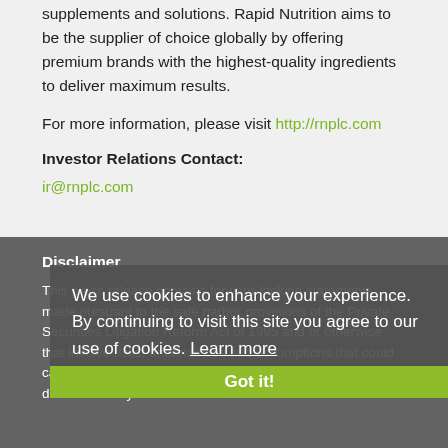supplements and solutions. Rapid Nutrition aims to be the supplier of choice globally by offering premium brands with the highest-quality ingredients to deliver maximum results.
For more information, please visit http://rnplc.com
Investor Relations Contact:
ir@rnplc.com
Disclaimer
This press release contains forward-looking statements made pursuant to the safe harbor provisions of the Private Securities Litigation Reform Act of 1995 and or otherwise that involve risks, uncertainties and assumptions that could cause Rapid Nutrition PLCs actual results and experience to differ materially from